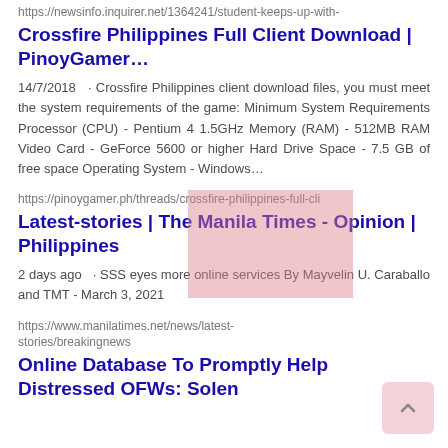https://newsinfo.inquirer.net/1364241/student-keeps-up-with-
Crossfire Philippines Full Client Download | PinoyGamer...
14/7/2018  · Crossfire Philippines client download files, you must meet the system requirements of the game: Minimum System Requirements Processor (CPU) - Pentium 4 1.5GHz Memory (RAM) - 512MB RAM Video Card - GeForce 5600 or higher Hard Drive Space - 7.5 GB of free space Operating System - Windows...
https://pinoygamer.ph/threads/crossfire-philippines-full-cli
Latest-stories | The Manila Times - Opinion | Philippines
2 days ago  · SSS eyes more online services By Mayvelin U. Caraballo and TMT - March 3, 2021
https://www.manilatimes.net/news/latest-stories/breakingnews
Online Database To Promptly Help Distressed OFWs: Solen